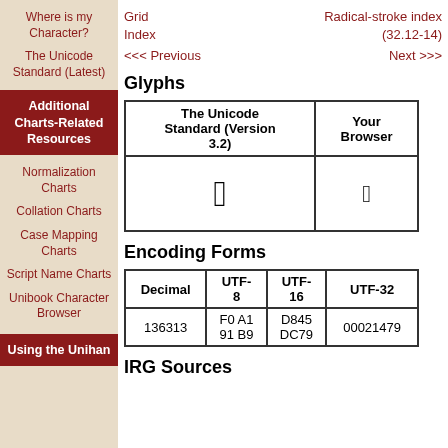Where is my Character?
The Unicode Standard (Latest)
Additional Charts-Related Resources
Normalization Charts
Collation Charts
Case Mapping Charts
Script Name Charts
Unibook Character Browser
Using the Unihan
Grid Index    Radical-stroke index (32.12-14)
<<< Previous    Next >>>
Glyphs
| The Unicode Standard (Version 3.2) | Your Browser |
| --- | --- |
| [CJK glyph image] | [box] |
Encoding Forms
| Decimal | UTF-8 | UTF-16 | UTF-32 |
| --- | --- | --- | --- |
| 136313 | F0 A1 91 B9 | D845 DC79 | 00021479 |
IRG Sources